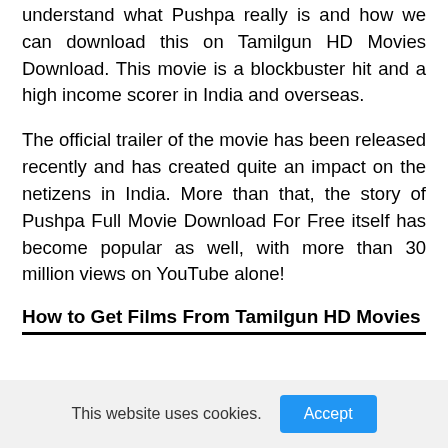understand what Pushpa really is and how we can download this on Tamilgun HD Movies Download. This movie is a blockbuster hit and a high income scorer in India and overseas.
The official trailer of the movie has been released recently and has created quite an impact on the netizens in India. More than that, the story of Pushpa Full Movie Download For Free itself has become popular as well, with more than 30 million views on YouTube alone!
How to Get Films From Tamilgun HD Movies
This website uses cookies.